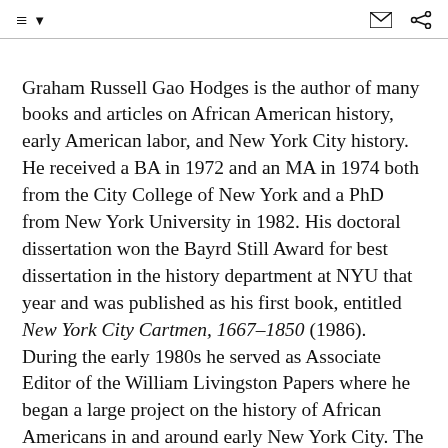≡ ▼   ✉ share
Graham Russell Gao Hodges is the author of many books and articles on African American history, early American labor, and New York City history. He received a BA in 1972 and an MA in 1974 both from the City College of New York and a PhD from New York University in 1982. His doctoral dissertation won the Bayrd Still Award for best dissertation in the history department at NYU that year and was published as his first book, entitled New York City Cartmen, 1667–1850 (1986). During the early 1980s he served as Associate Editor of the William Livingston Papers where he began a large project on the history of African Americans in and around early New York City. The first fruits of that research were his editions of Black Itinerants of the Gospel: The Narratives of John Jea and George White (1993); "Pretends to be Free": Runaway Slave Advertisements